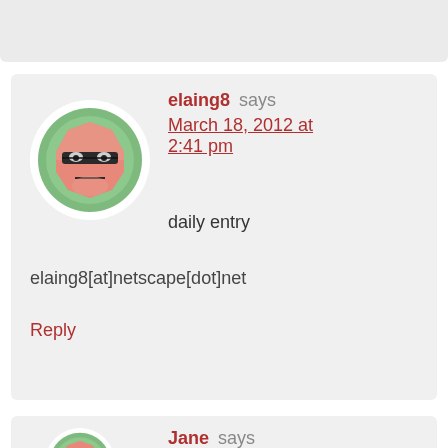[Figure (illustration): Cropped top portion of a previous comment block, gray background]
[Figure (illustration): Avatar icon: cartoon face with glasses, octagon shape, salmon/pink color on green circular background, for user elaing8]
elaing8 says
March 18, 2012 at 2:41 pm
daily entry
elaing8[at]netscape[dot]net
Reply
[Figure (illustration): Avatar icon: same cartoon face with glasses, partially visible, for user Jane]
Jane says
March 18, 2012 at